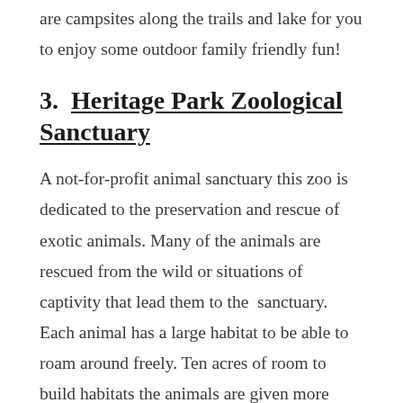are campsites along the trails and lake for you to enjoy some outdoor family friendly fun!
3.  Heritage Park Zoological Sanctuary
A not-for-profit animal sanctuary this zoo is dedicated to the preservation and rescue of exotic animals. Many of the animals are rescued from the wild or situations of captivity that lead them to the  sanctuary. Each animal has a large habitat to be able to roam around freely. Ten acres of room to build habitats the animals are given more than enough space to grow and